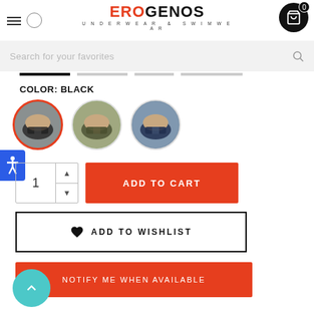EROGENOS UNDERWEAR & SWIMWEAR
Search for your favorites
COLOR: BLACK
[Figure (screenshot): Three circular color swatches showing underwear in black (selected, with red border), olive/dark green, and navy blue]
1
ADD TO CART
ADD TO WISHLIST
NOTIFY ME WHEN AVAILABLE